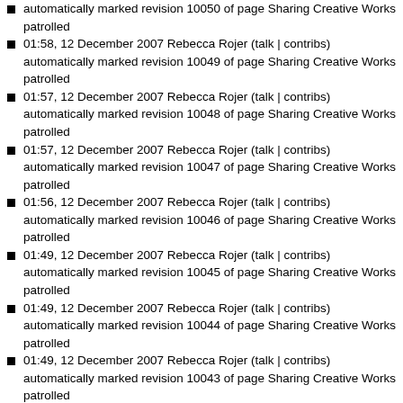automatically marked revision 10050 of page Sharing Creative Works patrolled
01:58, 12 December 2007 Rebecca Rojer (talk | contribs) automatically marked revision 10049 of page Sharing Creative Works patrolled
01:57, 12 December 2007 Rebecca Rojer (talk | contribs) automatically marked revision 10048 of page Sharing Creative Works patrolled
01:57, 12 December 2007 Rebecca Rojer (talk | contribs) automatically marked revision 10047 of page Sharing Creative Works patrolled
01:56, 12 December 2007 Rebecca Rojer (talk | contribs) automatically marked revision 10046 of page Sharing Creative Works patrolled
01:49, 12 December 2007 Rebecca Rojer (talk | contribs) automatically marked revision 10045 of page Sharing Creative Works patrolled
01:49, 12 December 2007 Rebecca Rojer (talk | contribs) automatically marked revision 10044 of page Sharing Creative Works patrolled
01:49, 12 December 2007 Rebecca Rojer (talk | contribs) automatically marked revision 10043 of page Sharing Creative Works patrolled
01:48, 12 December 2007 Rebecca Rojer (talk | contribs) automatically marked revision 10042 of page Sharing Creative Works patrolled